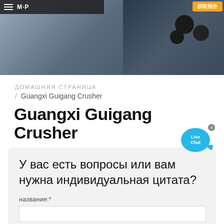[Figure (photo): Industrial factory/machinery in background on left, microphone equipment on right, dark overlay, website header navigation bar with hamburger menu and logo at top left, orange button at top right]
ДОМАШНЯЯ СТРАНИЦА
/ Guangxi Guigang Crusher
Guangxi Guigang Crusher
У вас есть вопросы или вам нужна индивидуальная цитата?
название:*